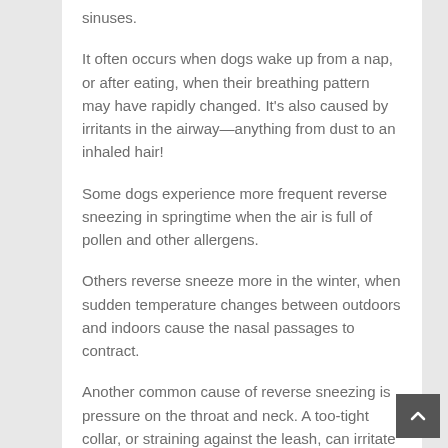sinuses.
It often occurs when dogs wake up from a nap, or after eating, when their breathing pattern may have rapidly changed. It's also caused by irritants in the airway—anything from dust to an inhaled hair!
Some dogs experience more frequent reverse sneezing in springtime when the air is full of pollen and other allergens.
Others reverse sneeze more in the winter, when sudden temperature changes between outdoors and indoors cause the nasal passages to contract.
Another common cause of reverse sneezing is pressure on the throat and neck. A too-tight collar, or straining against the leash, can irritate the throat and lead to a reverse sneeze. That's just one more reason to consider…